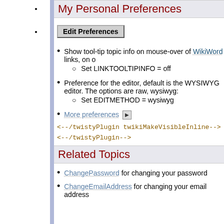My Personal Preferences
Edit Preferences
Show tool-tip topic info on mouse-over of WikiWord links, on o
Set LINKTOOLTIPINFO = off
Preference for the editor, default is the WYSIWYG editor. The options are raw, wysiwyg:
Set EDITMETHOD = wysiwyg
More preferences
<!--/twistyPlugin twikiMakeVisibleInline-->
<!--/twistyPlugin-->
Related Topics
ChangePassword for changing your password
ChangeEmailAddress for changing your email address